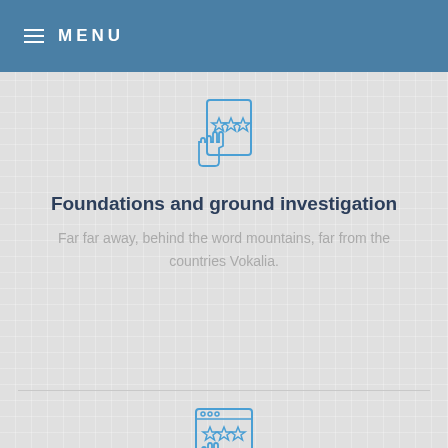MENU
[Figure (illustration): Blue outline icon of a hand pointing at a star rating on a document/screen]
Foundations and ground investigation
Far far away, behind the word mountains, far from the countries Vokalia.
[Figure (illustration): Blue outline icon of a hand pointing at star ratings on a browser/screen window]
Infrastructure